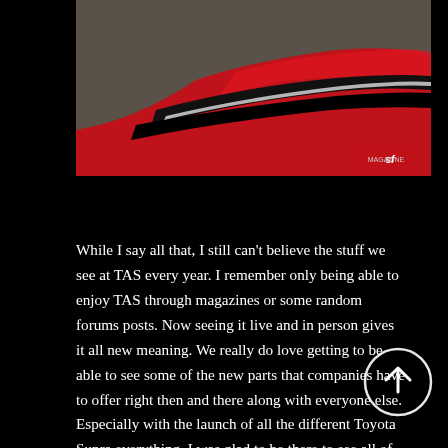[Figure (photo): Close-up photo of a red car body panel with glossy paint and a textured surface, with a small logo watermark in the bottom right corner.]
While I say all that, I still can't believe the stuff we see at TAS every year. I remember only being able to enjoy TAS through magazines or some random forums posts. Now seeing it live and in person gives it all new meaning. We really do love getting to be able to see some of the new parts that companies have to offer right then and there along with everyone else. Especially with the launch of all the different Toyota Supra everything, I was glad to be there to see all of it. Being owners of a Supra ourselves, we were intrigued at all the many many options that are now available and